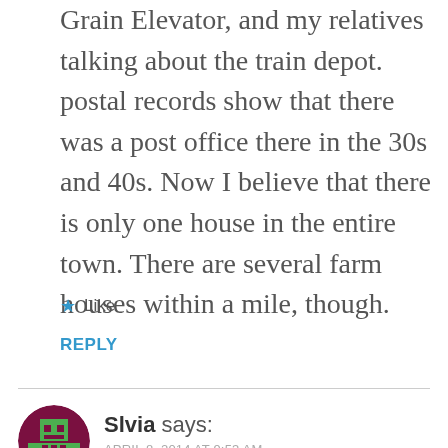Grain Elevator, and my relatives talking about the train depot. postal records show that there was a post office there in the 30s and 40s. Now I believe that there is only one house in the entire town. There are several farm houses within a mile, though.
★ Like
REPLY
[Figure (other): Circular avatar with dark purple/maroon background and a pixel-art style robot/character icon in green]
Slvia says:
APRIL 8, 2014 AT 9:53 AM